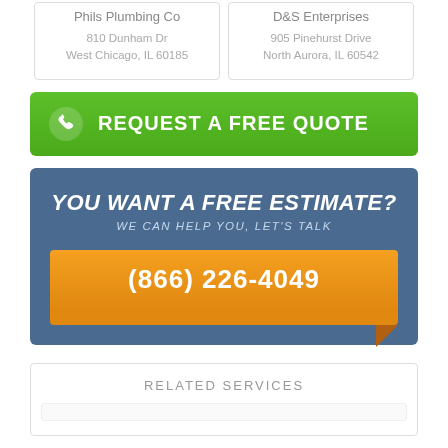Phils Plumbing Co
810 Dunham Dr
West Chicago, IL 60185
D&S Enterprises
905 Pinehurst Drive
North Aurora, IL 60542
REQUEST A FREE QUOTE
YOU WANT A FREE ESTIMATE?
WE CAN HELP YOU, LET'S TALK
(866) 226-4049
RELATED SERVICES